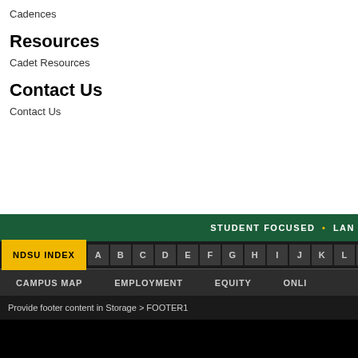Cadences
Resources
Cadet Resources
Contact Us
Contact Us
STUDENT FOCUSED • LAN   NDSU INDEX  A B C D E F G H I J K L M   CAMPUS MAP  EMPLOYMENT  EQUITY  ONLI   Provide footer content in Storage > FOOTER1